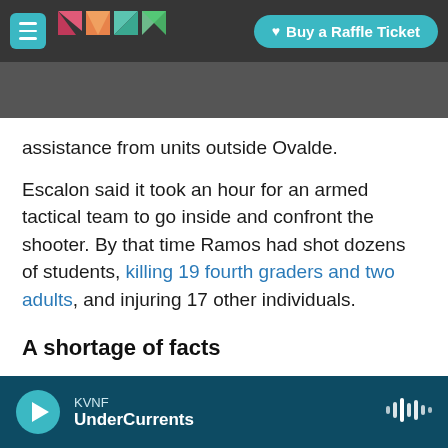KVNF [logo] | Buy a Raffle Ticket
assistance from units outside Uvalde.
Escalon said it took an hour for an armed tactical team to go inside and confront the shooter. By that time Ramos had shot dozens of students, killing 19 fourth graders and two adults, and injuring 17 other individuals.
A shortage of facts
The frustration over not knowing specific details of Tuesday's timeline is shared among all parents in the Uvalde community, Alex Covarrubias told NPR.
KVNF UnderCurrents [player]